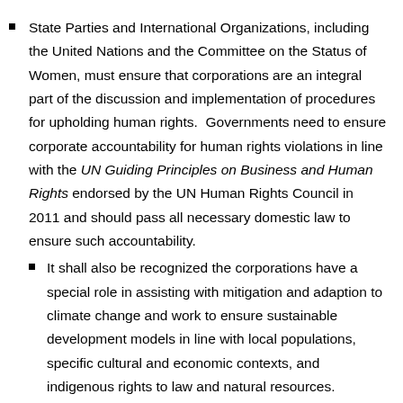State Parties and International Organizations, including the United Nations and the Committee on the Status of Women, must ensure that corporations are an integral part of the discussion and implementation of procedures for upholding human rights.  Governments need to ensure corporate accountability for human rights violations in line with the UN Guiding Principles on Business and Human Rights endorsed by the UN Human Rights Council in 2011 and should pass all necessary domestic law to ensure such accountability.
It shall also be recognized the corporations have a special role in assisting with mitigation and adaption to climate change and work to ensure sustainable development models in line with local populations, specific cultural and economic contexts, and indigenous rights to law and natural resources.